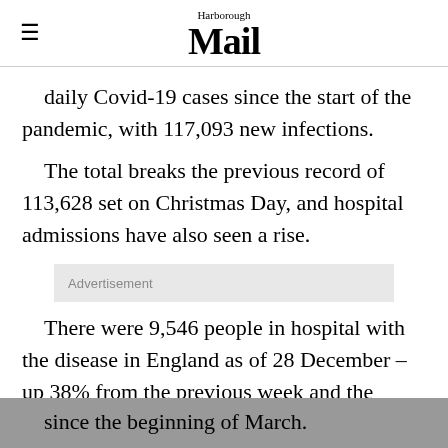Harborough Mail
daily Covid-19 cases since the start of the pandemic, with 117,093 new infections.
The total breaks the previous record of 113,628 set on Christmas Day, and hospital admissions have also seen a rise.
Advertisement
There were 9,546 people in hospital with the disease in England as of 28 December – up 38% from the previous week and the highest total since the beginning of March.